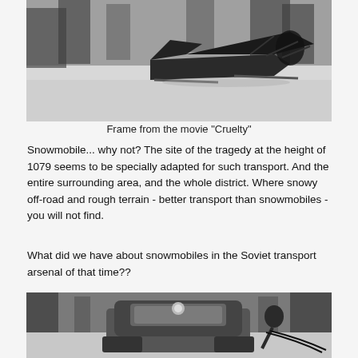[Figure (photo): Black and white photo of an early aerosled/snowmobile vehicle on snow, with trees in background. Frame from the movie 'Cruelty'.]
Frame from the movie "Cruelty"
Snowmobile... why not? The site of the tragedy at the height of 1079 seems to be specially adapted for such transport. And the entire surrounding area, and the whole district. Where snowy off-road and rough terrain - better transport than snowmobiles - you will not find.
What did we have about snowmobiles in the Soviet transport arsenal of that time??
[Figure (photo): Black and white photo of a Soviet snowmobile/tracked vehicle seen from behind, with a person on it and trees in the background.]